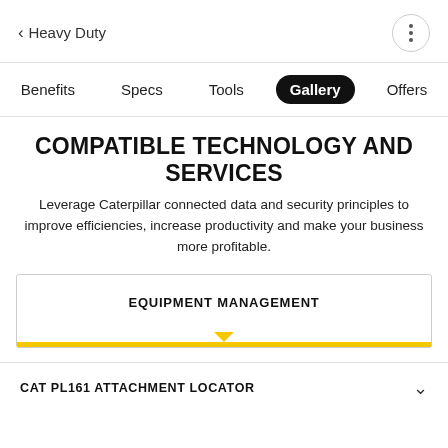< Heavy Duty
Benefits  Specs  Tools  Gallery  Offers
COMPATIBLE TECHNOLOGY AND SERVICES
Leverage Caterpillar connected data and security principles to improve efficiencies, increase productivity and make your business more profitable.
EQUIPMENT MANAGEMENT
CAT PL161 ATTACHMENT LOCATOR